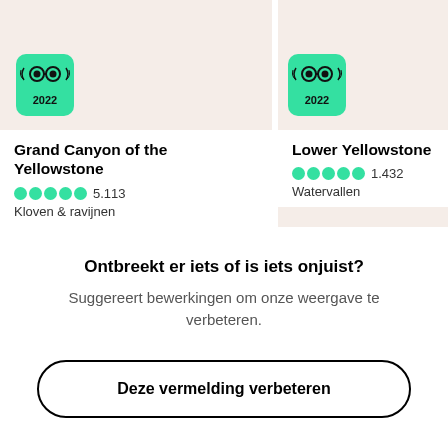[Figure (logo): TripAdvisor 2022 Travelers Choice badge on Grand Canyon of the Yellowstone card]
Grand Canyon of the Yellowstone
5.113
Kloven & ravijnen
[Figure (logo): TripAdvisor 2022 Travelers Choice badge on Lower Yellowstone card]
Lower Yellowstone
1.432
Watervallen
Ontbreekt er iets of is iets onjuist?
Suggereert bewerkingen om onze weergave te verbeteren.
Deze vermelding verbeteren